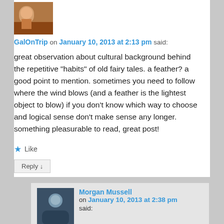[Figure (photo): User avatar thumbnail showing a person]
GalOnTrip on January 10, 2013 at 2:13 pm said:
great observation about cultural background behind the repetitive “habits” of old fairy tales. a feather? a good point to mention. sometimes you need to follow where the wind blows (and a feather is the lightest object to blow) if you don’t know which way to choose and logical sense don’t make sense any longer. something pleasurable to read, great post!
★ Like
Reply ↓
[Figure (photo): User avatar thumbnail for Morgan Mussell]
Morgan Mussell on January 10, 2013 at 2:38 pm said:
Thanks for visiting, and please stop by